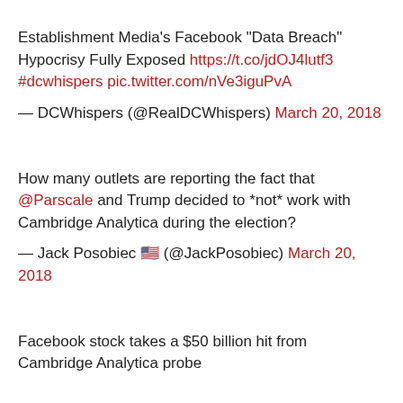Establishment Media's Facebook "Data Breach" Hypocrisy Fully Exposed https://t.co/jdOJ4lutf3 #dcwhispers pic.twitter.com/nVe3iguPvA
— DCWhispers (@RealDCWhispers) March 20, 2018
How many outlets are reporting the fact that @Parscale and Trump decided to *not* work with Cambridge Analytica during the election?
— Jack Posobiec 🇺🇸 (@JackPosobiec) March 20, 2018
Facebook stock takes a $50 billion hit from Cambridge Analytica probe